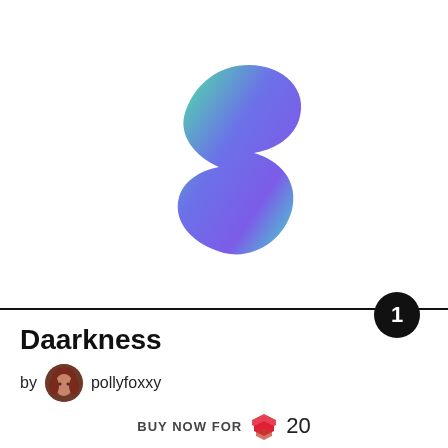[Figure (illustration): Abstract blob/amoeba shape with green-to-purple gradient, resembling a stylized letter S or 3, centered in upper portion of card]
Daarkness
by pollyfoxxy
BUY NOW FOR 20